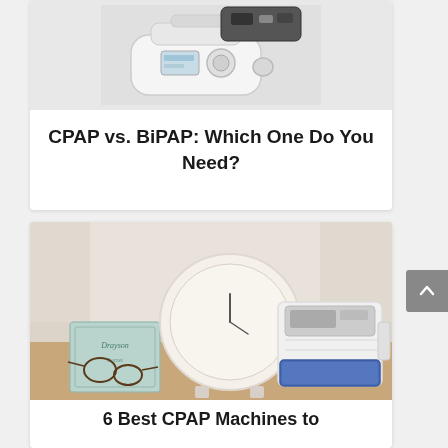[Figure (photo): CPAP or BiPAP machine photograph, top portion visible]
CPAP vs. BiPAP: Which One Do You Need?
[Figure (photo): CPAP machine on a nightstand beside a book with glasses and a clock]
6 Best CPAP Machines to